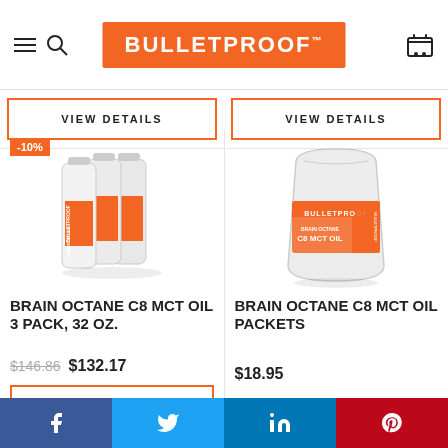BULLETPROOF
VIEW DETAILS
VIEW DETAILS
-10%
[Figure (photo): Three bottles of Bulletproof Brain Octane C8 MCT Oil, 32 oz, with orange labels]
[Figure (photo): Bag of Bulletproof Brain Octane C8 MCT Oil Packets with orange label]
BRAIN OCTANE C8 MCT OIL 3 PACK, 32 OZ.
BRAIN OCTANE C8 MCT OIL PACKETS
$146.86 $132.17
$18.95
VIEW DETAILS
VIEW DETAILS
f  Twitter  in  Pinterest